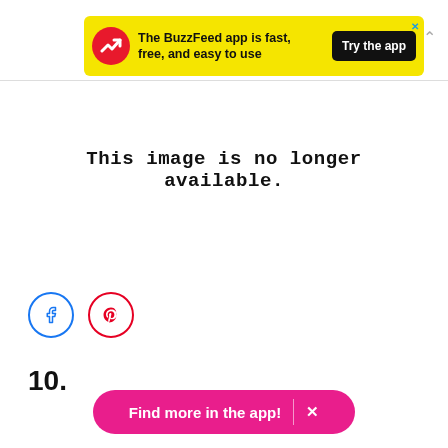[Figure (infographic): BuzzFeed app advertisement banner with yellow background, red circular logo with white upward arrow, bold text 'The BuzzFeed app is fast, free, and easy to use', and a black 'Try the app' button. An X close button and chevron up arrow are also visible.]
This image is no longer available.
[Figure (infographic): Two circular social share buttons: Facebook (blue circle with 'f' icon) and Pinterest (red circle with 'P' icon)]
10.
[Figure (infographic): Pink pill-shaped button reading 'Find more in the app!' with a vertical divider and X button]